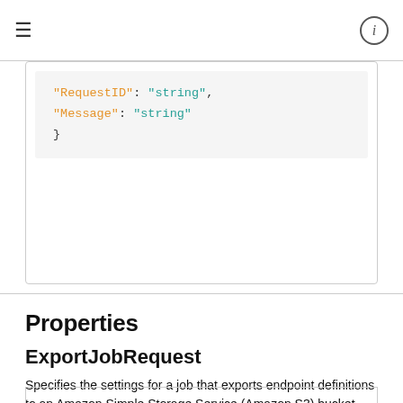≡  ⓘ
"RequestID": "string",
    "Message": "string"
}
Properties
ExportJobRequest
Specifies the settings for a job that exports endpoint definitions to an Amazon Simple Storage Service (Amazon S3) bucket.